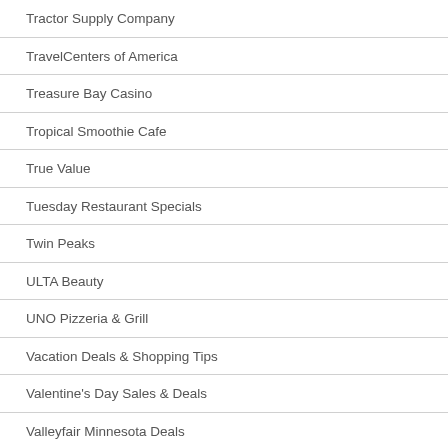Tractor Supply Company
TravelCenters of America
Treasure Bay Casino
Tropical Smoothie Cafe
True Value
Tuesday Restaurant Specials
Twin Peaks
ULTA Beauty
UNO Pizzeria & Grill
Vacation Deals & Shopping Tips
Valentine's Day Sales & Deals
Valleyfair Minnesota Deals
Valvoline Instant Oil Change
Verizon Wireless